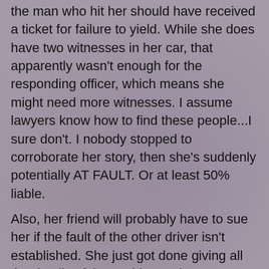the man who hit her should have received a ticket for failure to yield. While she does have two witnesses in her car, that apparently wasn't enough for the responding officer, which means she might need more witnesses. I assume lawyers know how to find these people...I sure don't. I nobody stopped to corroborate her story, then she's suddenly potentially AT FAULT. Or at least 50% liable.
Also, her friend will probably have to sue her if the fault of the other driver isn't established. She just got done giving all the details of the accident to her own or her friend's insurance company. The only people worse than lawyers are insurers. They will work with each other in order to avoid any responsibility or extra payments. This woman should not want to deal with her own or her friend's insurance. On top of all that, her own insurance will probably go way up. That sucks, especially if she wasn't really at fault.
If you get into an accident in Jacksonville, get a lawyer. If it's a fender-bender, at least call the cops and your insurance (I made the mistake of trusting the at-fault party).